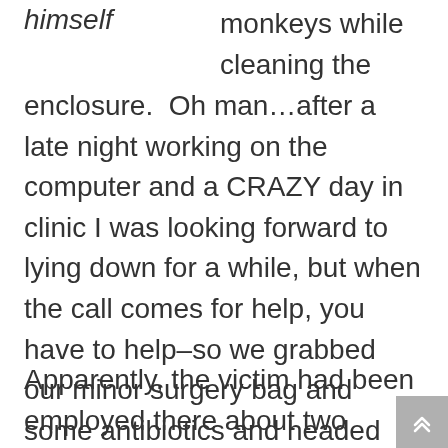himself        monkeys while cleaning the enclosure.  Oh man…after a late night working on the computer and a CRAZY day in clinic I was looking forward to lying down for a while, but when the call comes for help, you have to help–so we grabbed our minor surgery bag and some antibiotics and headed over.
Apparently, the victim had been employed there about two months, and was working (as usual) with the